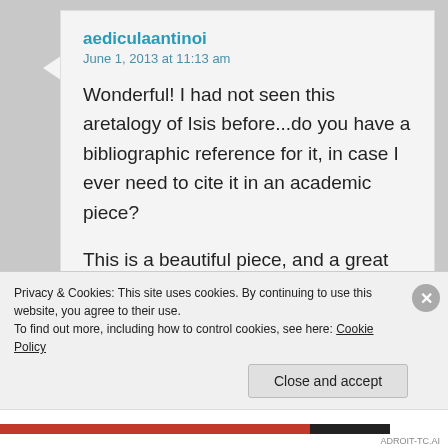aediculaantinoi
June 1, 2013 at 11:13 am
Wonderful! I had not seen this aretalogy of Isis before...do you have a bibliographic reference for it, in case I ever need to cite it in an academic piece?

This is a beautiful piece, and a great tribute to the great priestess, Laura–may the Goddess feed her honey!
Reply
Privacy & Cookies: This site uses cookies. By continuing to use this website, you agree to their use.
To find out more, including how to control cookies, see here: Cookie Policy
Close and accept